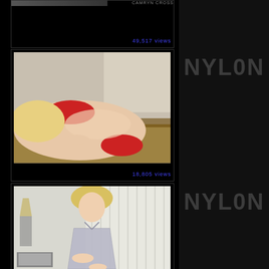[Figure (photo): Partial cropped top card showing photo strip and name label CAMRYN CROSS with 49,517 views]
CAMRYN CROSS
49,517 views
[Figure (photo): Photo of blonde woman in red bikini lying on wooden surface outdoors, with 18,805 views]
18,805 views
[Figure (photo): Photo of blonde woman in silver/grey dress sitting on desk with laptop in background (partial, bottom of page)]
NYLON
NYLON